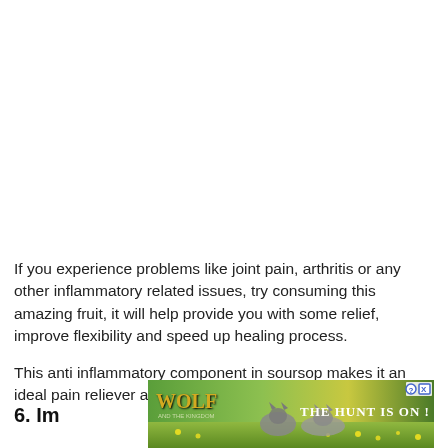If you experience problems like joint pain, arthritis or any other inflammatory related issues, try consuming this amazing fruit, it will help provide you with some relief, improve flexibility and speed up healing process.

This anti inflammatory component in soursop makes it an ideal pain reliever and speeds up healing process.
[Figure (other): Advertisement banner for Wolf game showing wolves in a field of yellow flowers with text 'THE HUNT IS ON!' and a help/close button in the top right corner.]
6. Im...